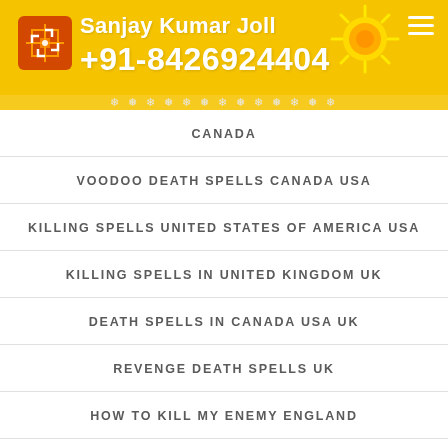Sanjay Kumar Joll +91-8426924404
CANADA
VOODOO DEATH SPELLS CANADA USA
KILLING SPELLS UNITED STATES OF AMERICA USA
KILLING SPELLS IN UNITED KINGDOM UK
DEATH SPELLS IN CANADA USA UK
REVENGE DEATH SPELLS UK
HOW TO KILL MY ENEMY ENGLAND